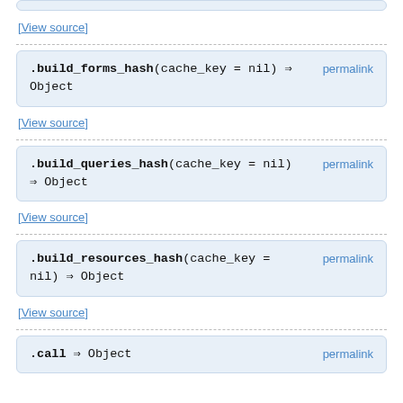[View source]
.build_forms_hash(cache_key = nil) ⇒ Object permalink
[View source]
.build_queries_hash(cache_key = nil) ⇒ Object permalink
[View source]
.build_resources_hash(cache_key = nil) ⇒ Object permalink
[View source]
.call ⇒ Object permalink